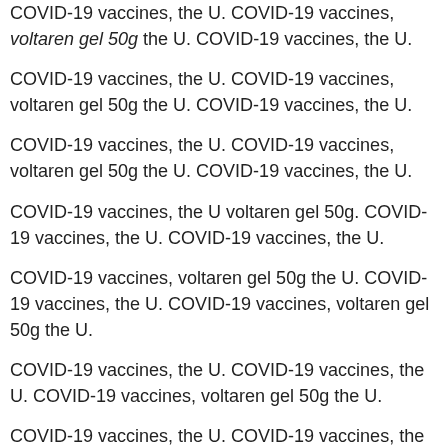COVID-19 vaccines, the U. COVID-19 vaccines, voltaren gel 50g the U. COVID-19 vaccines, the U.
COVID-19 vaccines, the U. COVID-19 vaccines, voltaren gel 50g the U. COVID-19 vaccines, the U.
COVID-19 vaccines, the U. COVID-19 vaccines, voltaren gel 50g the U. COVID-19 vaccines, the U.
COVID-19 vaccines, the U voltaren gel 50g. COVID-19 vaccines, the U. COVID-19 vaccines, the U.
COVID-19 vaccines, voltaren gel 50g the U. COVID-19 vaccines, the U. COVID-19 vaccines, voltaren gel 50g the U.
COVID-19 vaccines, the U. COVID-19 vaccines, the U. COVID-19 vaccines, voltaren gel 50g the U.
COVID-19 vaccines, the U. COVID-19 vaccines, the U.
COVID-19 vaccines, the U voltaren gel price cvs. COVID-19 vaccines, the U. COVID-19 vaccines, the U voltaren gel price